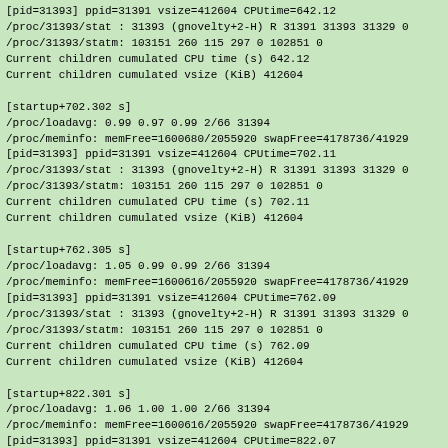[pid=31393] ppid=31391 vsize=412604 CPUtime=642.12
/proc/31393/stat : 31393 (gnovelty+2-H) R 31391 31393 31329 0
/proc/31393/statm: 103151 260 115 297 0 102851 0
Current children cumulated CPU time (s) 642.12
Current children cumulated vsize (KiB) 412604

[startup+702.302 s]
/proc/loadavg: 0.99 0.97 0.99 2/66 31394
/proc/meminfo: memFree=1600680/2055920 swapFree=4178736/41929
[pid=31393] ppid=31391 vsize=412604 CPUtime=702.11
/proc/31393/stat : 31393 (gnovelty+2-H) R 31391 31393 31329 0
/proc/31393/statm: 103151 260 115 297 0 102851 0
Current children cumulated CPU time (s) 702.11
Current children cumulated vsize (KiB) 412604

[startup+762.305 s]
/proc/loadavg: 1.05 0.99 0.99 2/66 31394
/proc/meminfo: memFree=1600616/2055920 swapFree=4178736/41929
[pid=31393] ppid=31391 vsize=412604 CPUtime=762.09
/proc/31393/stat : 31393 (gnovelty+2-H) R 31391 31393 31329 0
/proc/31393/statm: 103151 260 115 297 0 102851 0
Current children cumulated CPU time (s) 762.09
Current children cumulated vsize (KiB) 412604

[startup+822.301 s]
/proc/loadavg: 1.06 1.00 1.00 2/66 31394
/proc/meminfo: memFree=1600616/2055920 swapFree=4178736/41929
[pid=31393] ppid=31391 vsize=412604 CPUtime=822.07
/proc/31393/stat : 31393 (gnovelty+2-H) R 31391 31393 31329 0
/proc/31393/statm: 103151 260 115 297 0 102851 0
Current children cumulated CPU time (s) 822.07
Current children cumulated vsize (KiB) 412604